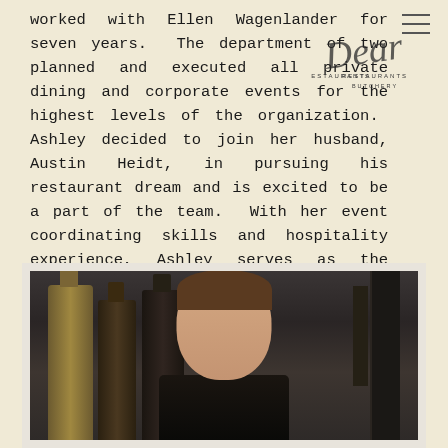worked with Ellen Wagenlander for seven years.  The department of two planned and executed all private dining and corporate events for the highest levels of the organization.  Ashley decided to join her husband, Austin Heidt, in pursuing his restaurant dream and is excited to be a part of the team.  With her event coordinating skills and hospitality experience, Ashley serves as the group's Director of Private Events.
[Figure (logo): Dear Restaurants Butchery cursive logo overlaid on text]
[Figure (photo): Portrait photo of a young man standing in front of shelves with liquor bottles, in a dark background setting, presented as a polaroid-style photograph]